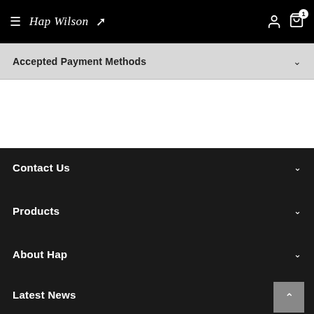≡ Hap Wilson ↑ [user icon] [cart icon with badge 1]
Accepted Payment Methods
Contact Us
Products
About Hap
Latest News